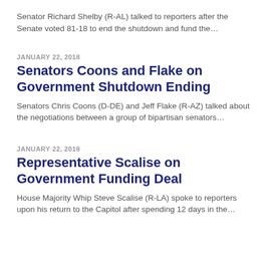Senator Richard Shelby (R-AL) talked to reporters after the Senate voted 81-18 to end the shutdown and fund the...
JANUARY 22, 2018
Senators Coons and Flake on Government Shutdown Ending
Senators Chris Coons (D-DE) and Jeff Flake (R-AZ) talked about the negotiations between a group of bipartisan senators...
JANUARY 22, 2018
Representative Scalise on Government Funding Deal
House Majority Whip Steve Scalise (R-LA) spoke to reporters upon his return to the Capitol after spending 12 days in the...